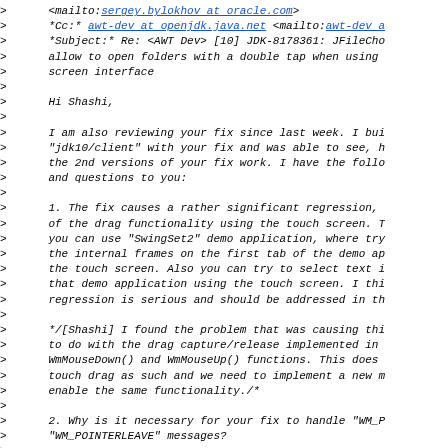> <mailto:sergey.bylokhov at oracle.com>
> *Cc:* awt-dev at openjdk.java.net <mailto:awt-dev a
> *Subject:* Re: <AWT Dev> [10] JDK-8178361: JFileCho
> allow to open folders with a double tap when using
> screen interface
>
> Hi Shashi,
>
> I am also reviewing your fix since last week. I bu
> "jdk10/client" with your fix and was able to see, h
> the 2nd versions of your fix work. I have the follo
> and questions to you:
>
> 1. The fix causes a rather significant regression,
> of the drag functionality using the touch screen. T
> you can use "SwingSet2" demo application, where try
> the internal frames on the first tab of the demo ap
> the touch screen. Also you can try to select text i
> that demo application using the touch screen. I thi
> regression is serious and should be addressed in th
>
> */[Shashi] I found the problem that was causing thi
> to do with the drag capture/release implemented in
> WmMouseDown() and WmMouseUp() functions. This does
> touch drag as such and we need to implement a new m
> enable the same functionality./*
>
> 2. Why is it necessary for your fix to handle "WM_P
> "WM_POINTERLEAVE" messages?
>